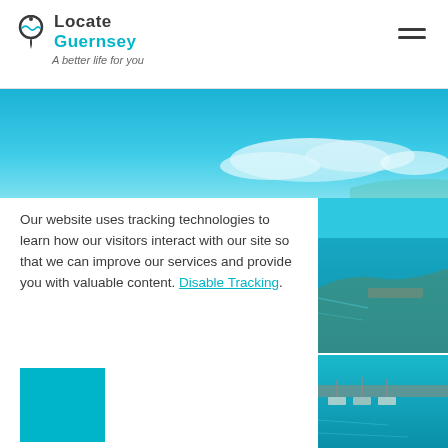[Figure (logo): Locate Guernsey logo with pin icon and tagline 'A better life for you']
[Figure (photo): Aerial/harbour photo of Guernsey with bright blue sky and coastal water — hero banner image]
Our website uses tracking technologies to learn how our visitors interact with our site so that we can improve our services and provide you with valuable content. Disable Tracking.
[Figure (other): Teal/cyan solid square button]
[Figure (photo): Coastal Guernsey harbour photo showing turquoise water and stone pier]
[Figure (photo): Guernsey harbour with boats moored at pier, turquoise water]